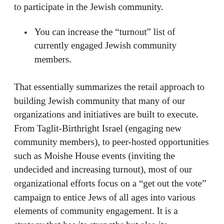to participate in the Jewish community.
You can increase the “turnout” list of currently engaged Jewish community members.
That essentially summarizes the retail approach to building Jewish community that many of our organizations and initiatives are built to execute. From Taglit-Birthright Israel (engaging new community members), to peer-hosted opportunities such as Moishe House events (inviting the undecided and increasing turnout), most of our organizational efforts focus on a “get out the vote” campaign to entice Jews of all ages into various elements of community engagement. It is a strategy that has its strengths but also its limitations. Creating a successful field operation for engagement requires a substantial investment in